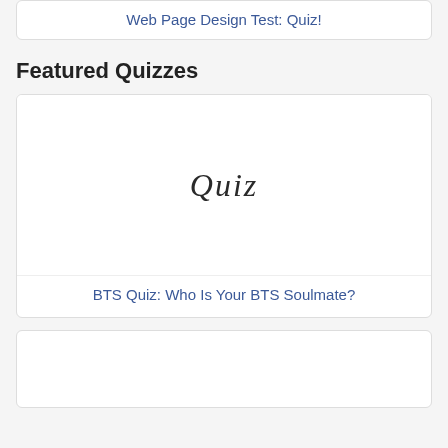Web Page Design Test: Quiz!
Featured Quizzes
[Figure (illustration): Quiz card placeholder image with the text 'Quiz' in handwriting-style font]
BTS Quiz: Who Is Your BTS Soulmate?